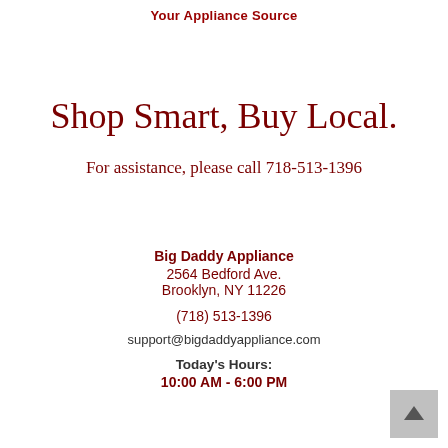Your Appliance Source
Shop Smart, Buy Local.
For assistance, please call 718-513-1396
Big Daddy Appliance
2564 Bedford Ave.
Brooklyn, NY 11226

(718) 513-1396

support@bigdaddyappliance.com

Today's Hours:
10:00 AM - 6:00 PM